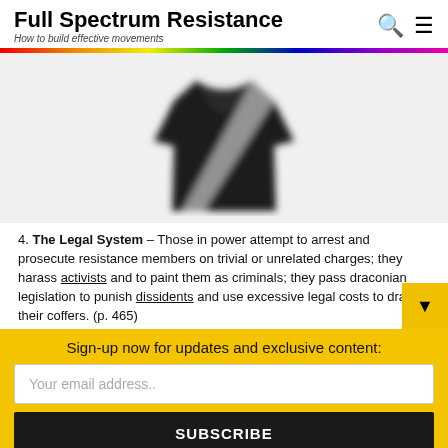Full Spectrum Resistance – How to build effective movements
[Figure (illustration): A blurred/pixelated image of a black long-sleeve shirt or jacket with a white diagonal sash, shown on a light grey background.]
4. The Legal System – Those in power attempt to arrest and prosecute resistance members on trivial or unrelated charges; they harass activists and to paint them as criminals; they pass draconian legislation to punish dissidents and use excessive legal costs to drain their coffers. (p. 465)
Sign-up now for updates and exclusive content:
Your email address..
SUBSCRIBE